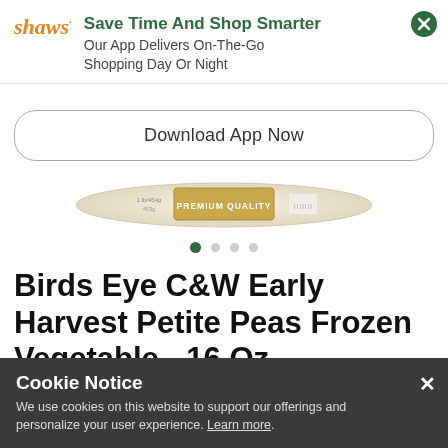[Figure (logo): Shaw's logo in orange italic text with small leaf/dot]
Save Time And Shop Smarter
Our App Delivers On-The-Go Shopping Day Or Night
Download App Now
[Figure (photo): Bird's Eye C&W product package showing 'PREMIUM QUALITY' label on a curved bag]
Birds Eye C&W Early Harvest Petite Peas Frozen Vegetable - 16 Oz
Cookie Notice
We use cookies on this website to support our offerings and personalize your user experience. Learn more.